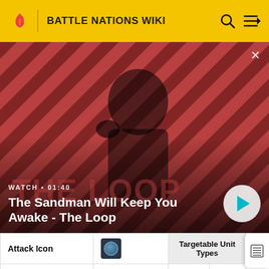BATTLE NATIONS WIKI
[Figure (screenshot): Video thumbnail showing a dark-clothed figure with a bird on shoulder against a red and black diagonal striped background. Title: 'The Sandman Will Keep You Awake - The Loop'. Duration: 01:40.]
WATCH • 01:40
The Sandman Will Keep You Awake - The Loop
|  |  | Targetable Unit Types |  |
| --- | --- | --- | --- |
| Attack Icon | [icon] |  |  |
| Damage | 36-74 | Air | ✓ |
| Offense | 86 | LTA | ✓ |